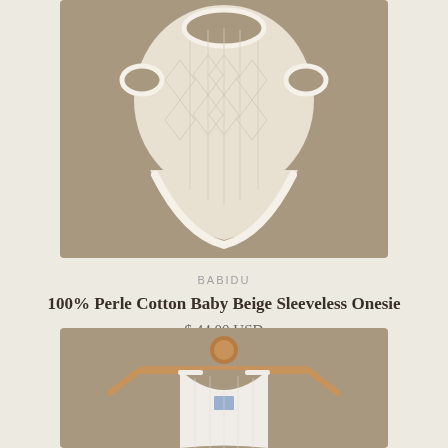[Figure (photo): Beige knit sleeveless baby onesie laid flat on a warm taupe background, showing cable-knit texture pattern with cream piping along the edges]
BABIDU
100% Perle Cotton Baby Beige Sleeveless Onesie
$ 44.00 USD
[Figure (photo): White knit sleeveless baby onesie hanging on a wooden hanger with a round wooden bead at the top, against a warm taupe background]